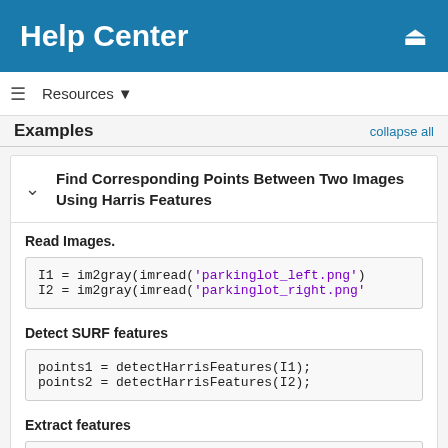Help Center
Resources ▼
Examples   collapse all
Find Corresponding Points Between Two Images Using Harris Features
Read Images.
I1 = im2gray(imread('parkinglot_left.png')
I2 = im2gray(imread('parkinglot_right.png'
Detect SURF features
points1 = detectHarrisFeatures(I1);
points2 = detectHarrisFeatures(I2);
Extract features
[f1, vpts1] = extractFeatures(I1,points1);